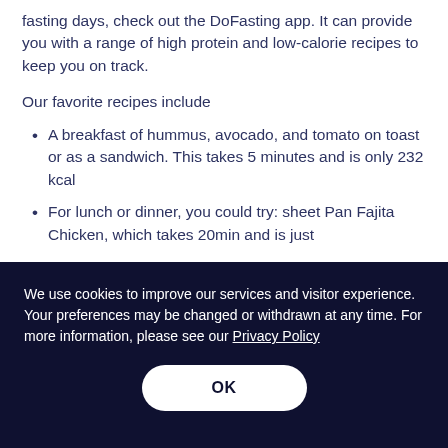fasting days, check out the DoFasting app. It can provide you with a range of high protein and low-calorie recipes to keep you on track.
Our favorite recipes include
A breakfast of hummus, avocado, and tomato on toast or as a sandwich. This takes 5 minutes and is only 232 kcal
For lunch or dinner, you could try: sheet Pan Fajita Chicken, which takes 20min and is just
We use cookies to improve our services and visitor experience. Your preferences may be changed or withdrawn at any time. For more information, please see our Privacy Policy
OK